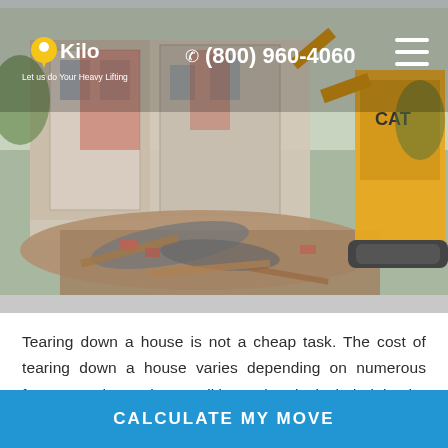Kilo — Let us do Your Heavy Lifting | (800) 960-4060
[Figure (photo): Demolition scene showing a partially demolished building with rubble and a yellow CAT excavator on the right side]
Tearing down a house is not a cheap task. The cost of tearing down a house varies depending on numerous factors such as the condition, what is included in the demolition process and how much work needs to be done. The most expensive part of any project is usually labor; a few others are the type of home, the materials used in construction, and the distance between the home and the landfill or recycling center.
CALCULATE MY MOVE